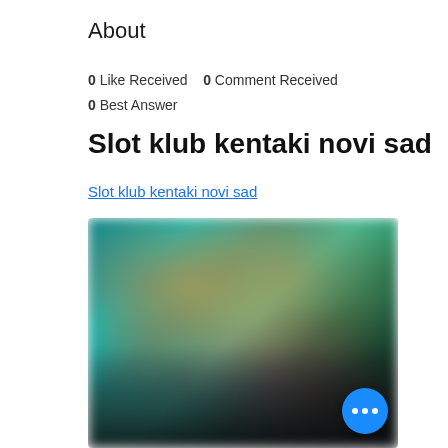About
0 Like Received   0 Comment Received
0 Best Answer
Slot klub kentaki novi sad
Slot klub kentaki novi sad
[Figure (photo): Blurred screenshot of a slot machine or gaming interface with colorful characters and dark background. A blue FAB button with three dots is visible in the bottom right corner.]